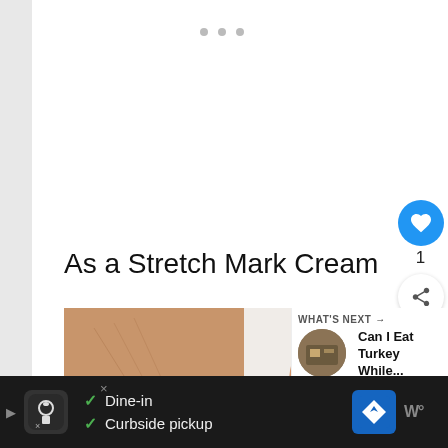[Figure (screenshot): White content area with three small gray dots at top indicating a loading or carousel indicator]
As a Stretch Mark Cream
[Figure (photo): Photo of skin with stretch marks and a baby's face visible on the right side]
WHAT'S NEXT → Can I Eat Turkey While...
[Figure (screenshot): Bottom advertisement bar with dark background showing Dine-in and Curbside pickup options with checkmarks, restaurant logo, and navigation icon]